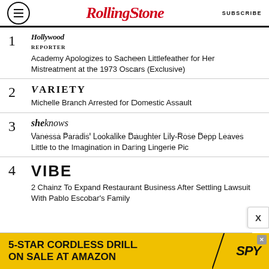RollingStone | SUBSCRIBE
1. Hollywood Reporter — Academy Apologizes to Sacheen Littlefeather for Her Mistreatment at the 1973 Oscars (Exclusive)
2. Variety — Michelle Branch Arrested for Domestic Assault
3. SheKnows — Vanessa Paradis' Lookalike Daughter Lily-Rose Depp Leaves Little to the Imagination in Daring Lingerie Pic
4. VIBE — 2 Chainz To Expand Restaurant Business After Settling Lawsuit With Pablo Escobar's Family
[Figure (other): Advertisement banner: 5-STAR CORDLESS DRILL ON SALE AT AMAZON / SPY logo on yellow background]